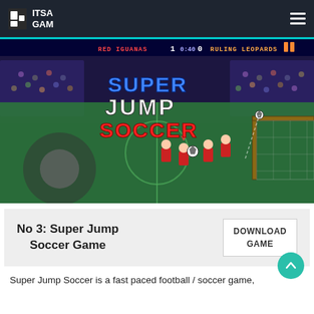ITSA GAM
[Figure (screenshot): Super Jump Soccer game screenshot showing a pixelated soccer/football game with teams Red Iguanas and Ruling Leopards, score 1-0 at 0:40, with the game title SUPER JUMP SOCCER displayed prominently]
No 3: Super Jump Soccer Game
DOWNLOAD GAME
Super Jump Soccer is a fast paced football / soccer game,